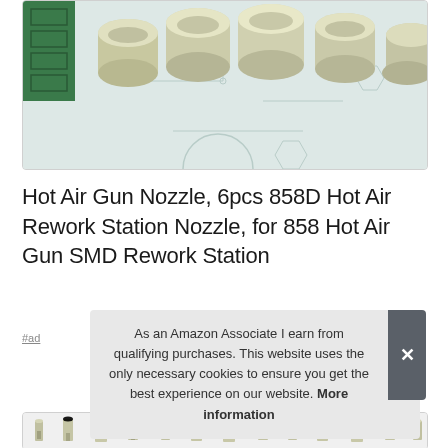[Figure (photo): Product photo of metallic cylindrical hot air gun nozzles arranged on a light teal circuit board patterned background with green cutting mat in corner]
Hot Air Gun Nozzle, 6pcs 858D Hot Air Rework Station Nozzle, for 858 Hot Air Gun SMD Rework Station
#ad
As an Amazon Associate I earn from qualifying purchases. This website uses the only necessary cookies to ensure you get the best experience on our website. More information
[Figure (photo): Row of small metallic hot air gun nozzle accessories shown at bottom of page]